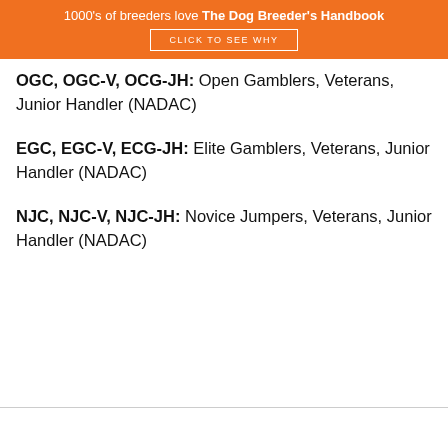1000's of breeders love The Dog Breeder's Handbook
CLICK TO SEE WHY
OGC, OGC-V, OCG-JH: Open Gamblers, Veterans, Junior Handler (NADAC)
EGC, EGC-V, ECG-JH: Elite Gamblers, Veterans, Junior Handler (NADAC)
NJC, NJC-V, NJC-JH: Novice Jumpers, Veterans, Junior Handler (NADAC)